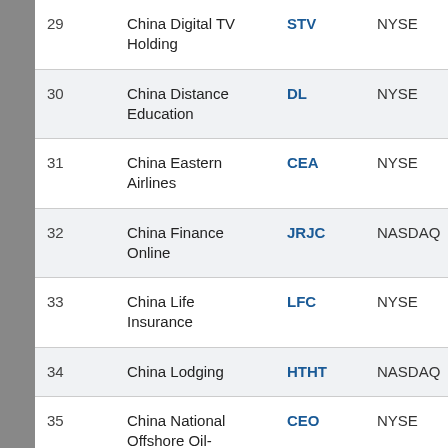| # | Company | Ticker | Exchange | Sector |
| --- | --- | --- | --- | --- |
| 29 | China Digital TV Holding | STV | NYSE | Electron… |
| 30 | China Distance Education | DL | NYSE | General… |
| 31 | China Eastern Airlines | CEA | NYSE | Travel &… |
| 32 | China Finance Online | JRJC | NASDAQ | Softwar… |
| 33 | China Life Insurance | LFC | NYSE | Life Insu… |
| 34 | China Lodging | HTHT | NASDAQ | Travel &… |
| 35 | China National Offshore Oil-CNOOC | CEO | NYSE | Oil & Ga… |